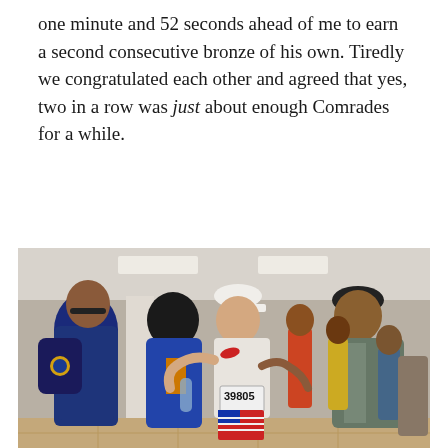one minute and 52 seconds ahead of me to earn a second consecutive bronze of his own. Tiredly we congratulated each other and agreed that yes, two in a row was just about enough Comrades for a while.
[Figure (photo): A post-race indoor scene showing two runners embracing — a woman in a blue jersey and a man in a white Nike shirt and white cap wearing race bib number 39805 with American flag shorts. A man in a grey jacket is visible to the right, and other people are in the background.]